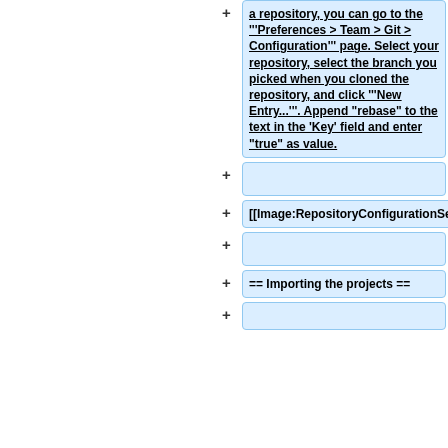a repository, you can go to the '''Preferences &gt; Team &gt; Git &gt; Configuration''' page. Select your repository, select the branch you picked when you cloned the repository, and click '''New Entry...'''. Append "rebase" to the text in the 'Key' field and enter "true" as value.
[[Image:RepositoryConfigurationSettings.png]]
== Importing the projects  ==